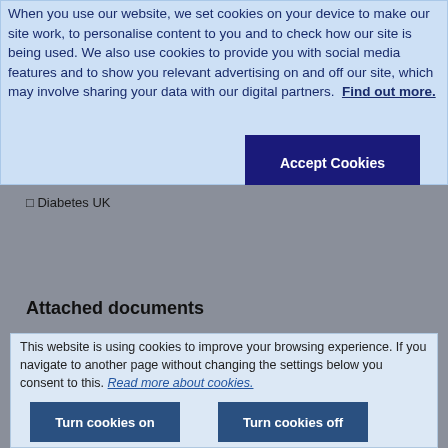When you use our website, we set cookies on your device to make our site work, to personalise content to you and to check how our site is being used. We also use cookies to provide you with social media features and to show you relevant advertising on and off our site, which may involve sharing your data with our digital partners. Find out more.
Cookie Settings
Accept Cookies
Diabetes UK
Attached documents
This website is using cookies to improve your browsing experience. If you navigate to another page without changing the settings below you consent to this. Read more about cookies.
Turn cookies on
Turn cookies off